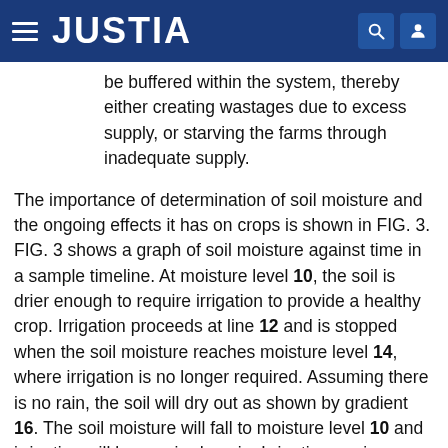JUSTIA
be buffered within the system, thereby either creating wastages due to excess supply, or starving the farms through inadequate supply.
The importance of determination of soil moisture and the ongoing effects it has on crops is shown in FIG. 3. FIG. 3 shows a graph of soil moisture against time in a sample timeline. At moisture level 10, the soil is drier enough to require irrigation to provide a healthy crop. Irrigation proceeds at line 12 and is stopped when the soil moisture reaches moisture level 14, where irrigation is no longer required. Assuming there is no rain, the soil will dry out as shown by gradient 16. The soil moisture will fall to moisture level 10 and irrigation will be required again. Irrigation again proceeds at line 18 and is stopped when the soil moisture again reaches